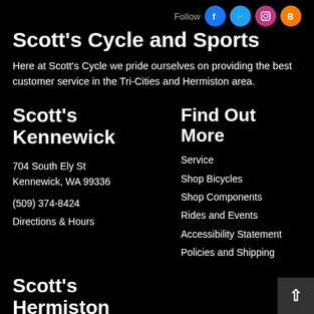Scott's Cycle and Sports
Here at Scott's Cycle we pride ourselves on providing the best customer service in the Tri-Cities and Hermiston area.
Scott's Kennewick
704 South Ely St
Kennewick, WA 99336
(509) 374-8424
Directions & Hours
Find Out More
Service
Shop Bicycles
Shop Components
Rides and Events
Accessibility Statement
Policies and Shipping
Scott's Hermiston